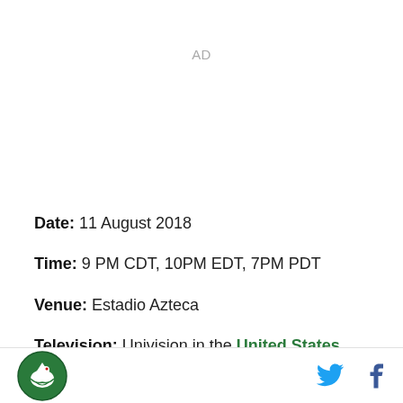AD
Date: 11 August 2018
Time: 9 PM CDT, 10PM EDT, 7PM PDT
Venue: Estadio Azteca
Television: Univision in the United States, TDN in
Mexico & Central America